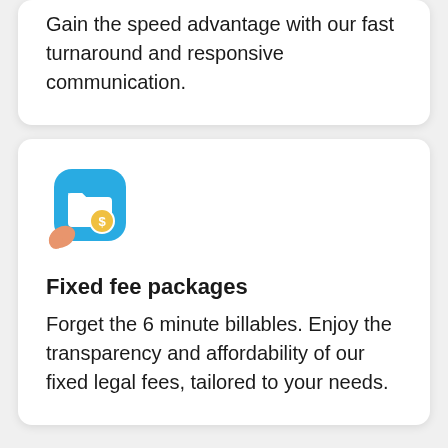Gain the speed advantage with our fast turnaround and responsive communication.
[Figure (illustration): Blue rounded square icon with a white folder and a dollar coin badge, with a small hand/finger illustration peeking from lower left]
Fixed fee packages
Forget the 6 minute billables. Enjoy the transparency and affordability of our fixed legal fees, tailored to your needs.